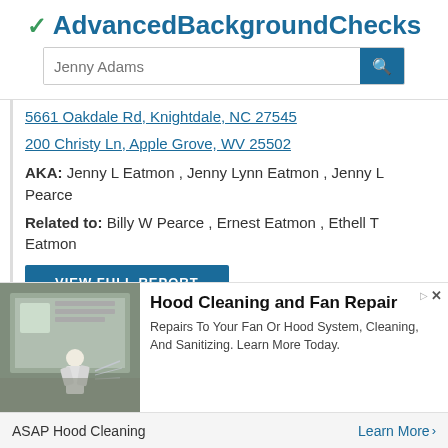✓ AdvancedBackgroundChecks
Jenny Adams [search input placeholder]
5661 Oakdale Rd, Knightdale, NC 27545
200 Christy Ln, Apple Grove, WV 25502
AKA: Jenny L Eatmon , Jenny Lynn Eatmon , Jenny L Pearce
Related to: Billy W Pearce , Ernest Eatmon , Ethell T Eatmon
VIEW FULL REPORT
[Figure (photo): Advertisement image showing hood cleaning equipment and worker in industrial kitchen]
Hood Cleaning and Fan Repair
Repairs To Your Fan Or Hood System, Cleaning, And Sanitizing. Learn More Today.
ASAP Hood Cleaning   Learn More >